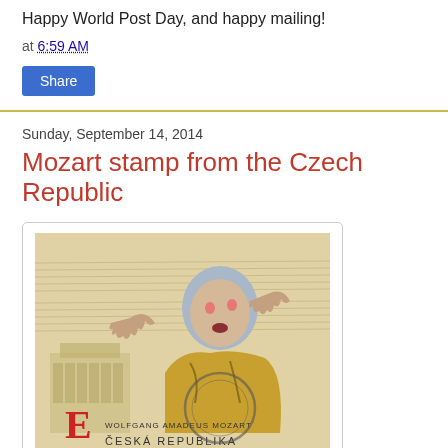Happy World Post Day, and happy mailing!
at 6:59 AM
Share
Sunday, September 14, 2014
Mozart stamp from the Czech Republic
[Figure (photo): A postage stamp from the Czech Republic depicting Wolfgang Amadeus Mozart, with musical score background, a figure in ornate costume conducting, and text reading WOLFGANG AMADEUS MOZART / CESKA REPUBLIKA with a large red letter E.]
There are many things I love about Postcrossing: the serendipity of unexpected postcards from around the world